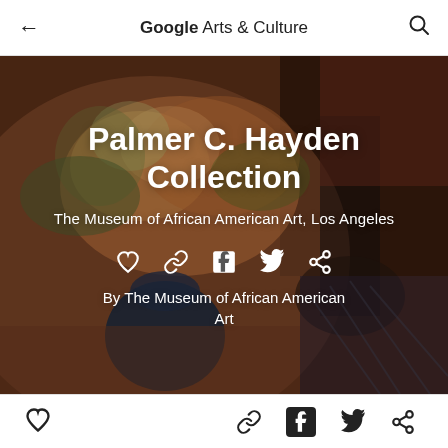Google Arts & Culture
[Figure (photo): Painting of flowers in a dark vase with decorative objects, used as background for Palmer C. Hayden Collection on Google Arts & Culture mobile app]
Palmer C. Hayden Collection
The Museum of African American Art, Los Angeles
By The Museum of African American Art